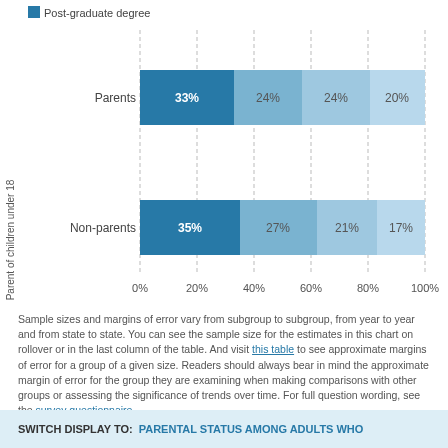[Figure (stacked-bar-chart): ]
Sample sizes and margins of error vary from subgroup to subgroup, from year to year and from state to state. You can see the sample size for the estimates in this chart on rollover or in the last column of the table. And visit this table to see approximate margins of error for a group of a given size. Readers should always bear in mind the approximate margin of error for the group they are examining when making comparisons with other groups or assessing the significance of trends over time. For full question wording, see the survey questionnaire.
SWITCH DISPLAY TO: PARENTAL STATUS AMONG ADULTS WHO